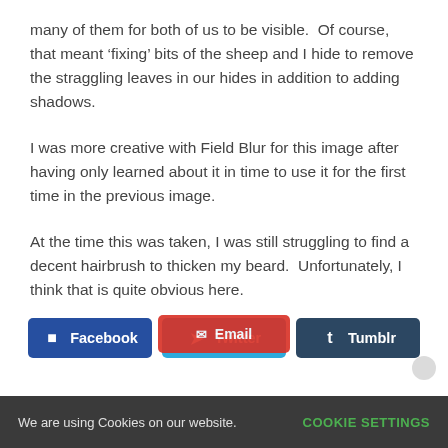many of them for both of us to be visible.  Of course, that meant ‘fixing’ bits of the sheep and I hide to remove the straggling leaves in our hides in addition to adding shadows.
I was more creative with Field Blur for this image after having only learned about it in time to use it for the first time in the previous image.
At the time this was taken, I was still struggling to find a decent hairbrush to thicken my beard.  Unfortunately, I think that is quite obvious here.
In the end though, I am happy with this image short of doing a better job at composition. Next time!
[Figure (other): Social sharing buttons: Facebook (dark blue), Twitter (light blue), Tumblr (dark slate), and Email (red) buttons]
We are using Cookies on our website.   COOKIE SETTINGS